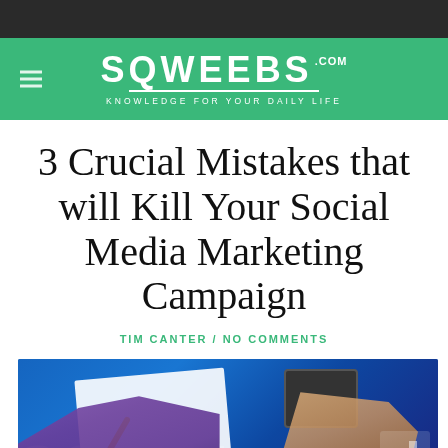SQWEEBS.com — KNOWLEDGE FOR YOUR DAILY LIFE
3 Crucial Mistakes that will Kill Your Social Media Marketing Campaign
TIM CANTER / NO COMMENTS
[Figure (photo): People working around a table with social media graphics, a tablet, paper, and a pen. Blue background with large white social media text lettering visible.]